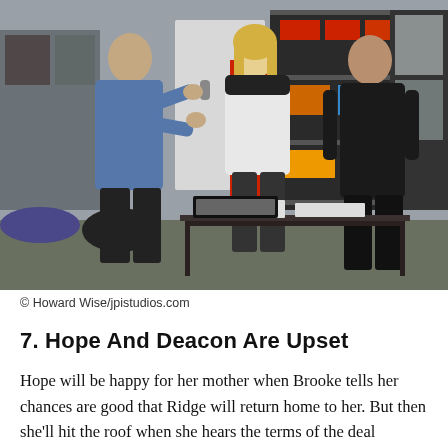[Figure (photo): Three people in a garage or storage room. A man on the left in a blue shirt gestures while talking. A woman in the center with blonde hair wears a white and black jacket. A man on the right in a dark long-sleeve shirt stands listening. Behind them are metal shelving units with various colored tool boxes and equipment.]
© Howard Wise/jpistudios.com
7. Hope And Deacon Are Upset
Hope will be happy for her mother when Brooke tells her chances are good that Ridge will return home to her. But then she'll hit the roof when she hears the terms of the deal Brooke reached with her husband. Deacon will also be stunned and hurt, and the father and daughter will ask her to reconsider her